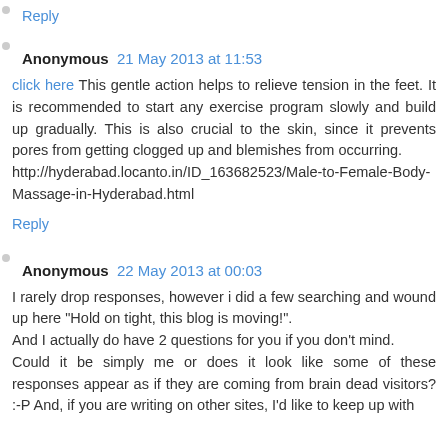Reply
Anonymous 21 May 2013 at 11:53
click here This gentle action helps to relieve tension in the feet. It is recommended to start any exercise program slowly and build up gradually. This is also crucial to the skin, since it prevents pores from getting clogged up and blemishes from occurring. http://hyderabad.locanto.in/ID_163682523/Male-to-Female-Body-Massage-in-Hyderabad.html
Reply
Anonymous 22 May 2013 at 00:03
I rarely drop responses, however i did a few searching and wound up here "Hold on tight, this blog is moving!". And I actually do have 2 questions for you if you don't mind. Could it be simply me or does it look like some of these responses appear as if they are coming from brain dead visitors? :-P And, if you are writing on other sites, I'd like to keep up with